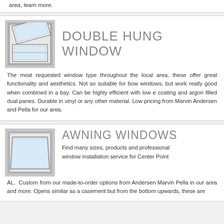area, learn more.
DOUBLE HUNG WINDOW
[Figure (illustration): Double hung window illustration showing two sashes, the lower tilted open, white frame on grey background.]
The most requested window type throughout the local area, these offer great functionality and aesthetics. Not so suitable for bow windows, but work really good when combined in a bay. Can be highly efficient with low e coating and argon filled dual panes. Durable in vinyl or any other material. Low pricing from Marvin Andersen and Pella for our area.
AWNING WINDOWS
[Figure (illustration): Awning window illustration showing a rectangular window with the bottom tilted outward, white frame on grey background.]
Find many sizes, products and professional window installation service for Center Point AL. Custom from our made-to-order options from Andersen Marvin Pella in our area and more. Opens similar as a casement but from the bottom upwards, these are